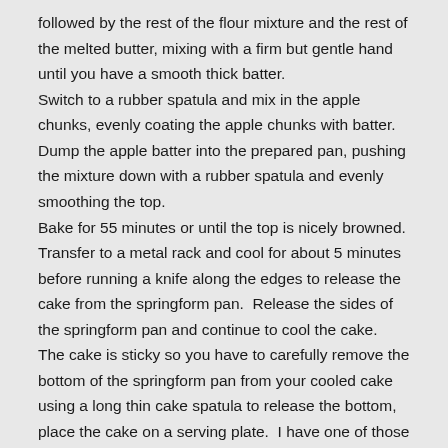followed by the rest of the flour mixture and the rest of the melted butter, mixing with a firm but gentle hand until you have a smooth thick batter. Switch to a rubber spatula and mix in the apple chunks, evenly coating the apple chunks with batter. Dump the apple batter into the prepared pan, pushing the mixture down with a rubber spatula and evenly smoothing the top. Bake for 55 minutes or until the top is nicely browned. Transfer to a metal rack and cool for about 5 minutes before running a knife along the edges to release the cake from the springform pan.  Release the sides of the springform pan and continue to cool the cake.  The cake is sticky so you have to carefully remove the bottom of the springform pan from your cooled cake using a long thin cake spatula to release the bottom, place the cake on a serving plate.  I have one of those old